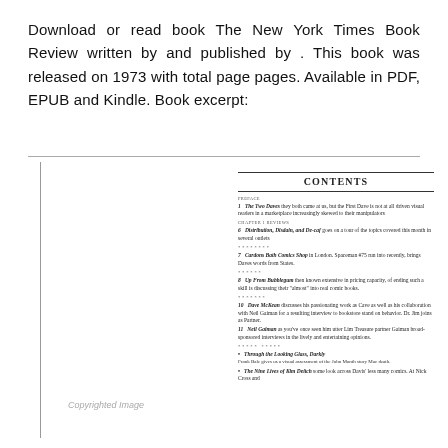Download or read book The New York Times Book Review written by and published by . This book was released on 1973 with total page pages. Available in PDF, EPUB and Kindle. Book excerpt:
[Figure (screenshot): Scanned book contents page showing a table of contents with entries including: The Two Daves, Distribution Disdain and De-caf, Cardons Bath Comics Shop, Up From Bubblegum, Dave McKean, Neil Gaiman, Through the Looking Glass Darkly, The Nine Lives of Kim Deitch. Left side has a vertical line and a 'Copyrighted Image' watermark.]